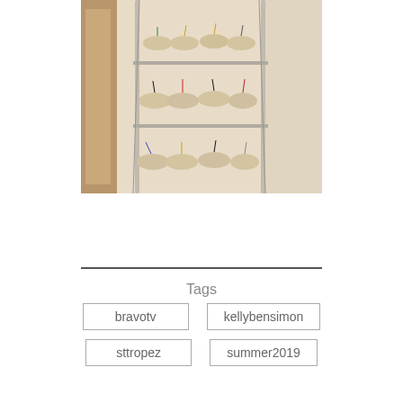[Figure (photo): A photo of a shoe rack or display holding multiple sandals/flip-flops arranged on shelves. The sandals have various colored straps including gold, red, black, and blue.]
Tags
bravotv
kellybensimon
sttropez
summer2019